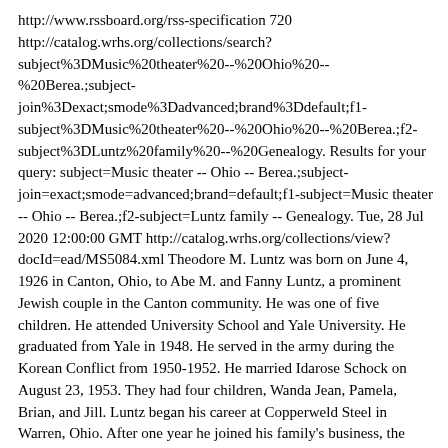http://www.rssboard.org/rss-specification 720 http://catalog.wrhs.org/collections/search?subject%3DMusic%20theater%20--%20Ohio%20--%20Berea.;subject-join%3Dexact;smode%3Dadvanced;brand%3Ddefault;f1-subject%3DMusic%20theater%20--%20Ohio%20--%20Berea.;f2-subject%3DLuntz%20family%20--%20Genealogy. Results for your query: subject=Music theater -- Ohio -- Berea.;subject-join=exact;smode=advanced;brand=default;f1-subject=Music theater -- Ohio -- Berea.;f2-subject=Luntz family -- Genealogy. Tue, 28 Jul 2020 12:00:00 GMT http://catalog.wrhs.org/collections/view?docId=ead/MS5084.xml Theodore M. Luntz was born on June 4, 1926 in Canton, Ohio, to Abe M. and Fanny Luntz, a prominent Jewish couple in the Canton community. He was one of five children. He attended University School and Yale University. He graduated from Yale in 1948. He served in the army during the Korean Conflict from 1950-1952. He married Idarose Schock on August 23, 1953. They had four children, Wanda Jean, Pamela, Brian, and Jill. Luntz began his career at Copperweld Steel in Warren, Ohio. After one year he joined his family's business, the Luntz Corporation, one of the United States' premiere scrap and steel brokerage firms. He rose through different positions including treasurer, executive vice president, and eventually became president in 1984. He went on to become chief executive officer and chairman of Luntz Corporation